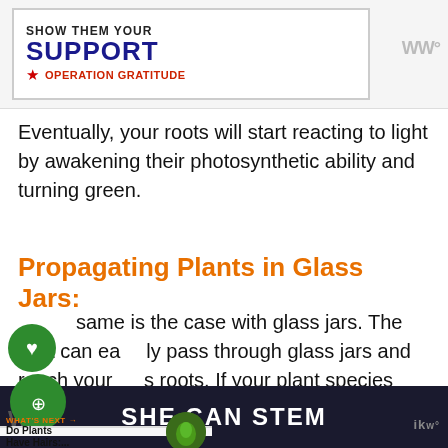[Figure (advertisement): Operation Gratitude 'Show Them Your Support' advertisement banner with red, white and blue star logo]
Eventually, your roots will start reacting to light by awakening their photosynthetic ability and turning green.
Propagating Plants in Glass Jars:
The same is the case with glass jars. The light can easily pass through glass jars and reach your plant's roots. If your plant species have the ability to stimulate chloroplast production in the roots, it will turn green in no time.
[Figure (screenshot): Social share overlay with green heart and share icons, and 'What's Next: Do Plants Have Hairs:...' teaser with circular plant image]
SHE CAN STEM